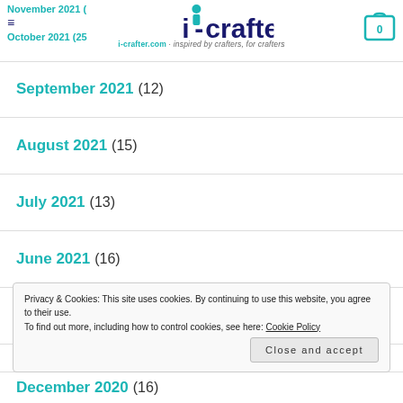i-crafter - i-crafter.com - inspired by crafters, for crafters
November 2021 (partial)
October 2021 (25+)
September 2021 (12)
August 2021 (15)
July 2021 (13)
June 2021 (16)
May 2021 (12)
April 2021 (12)
Privacy & Cookies: This site uses cookies. By continuing to use this website, you agree to their use. To find out more, including how to control cookies, see here: Cookie Policy
December 2020 (16)